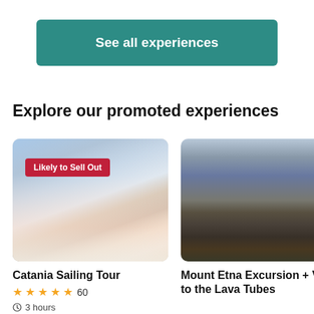See all experiences
Explore our promoted experiences
[Figure (photo): People on a sailing boat on the water, with a 'Likely to Sell Out' badge overlay in red]
Likely to Sell Out
Catania Sailing Tour
★★★★★ 60
3 hours
[Figure (photo): Hikers on a rocky volcanic landscape at Mount Etna, with dark lava fields and cloudy sky]
Mount Etna Excursion + Visit to the Lava Tubes